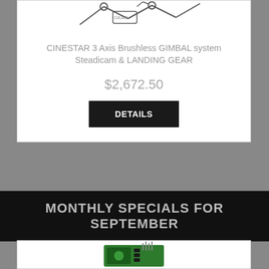[Figure (photo): Partial top view of a drone/multicopter product image, cropped at top of page]
CINESTAR 3 Axis Brushless GIMBAL system Steadicam & LANDING GEAR
$2,672.50
DETAILS
MONTHLY SPECIALS FOR SEPTEMBER
[Figure (photo): Partial view of a green circuit board/electronic component, visible at bottom of page]